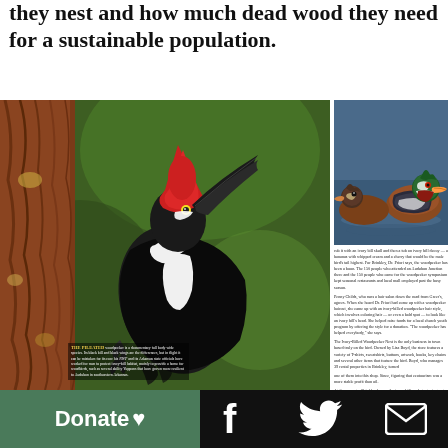they nest and how much dead wood they need for a sustainable population.
[Figure (photo): A pileated woodpecker clinging to the bark of a tree trunk, with red crest and black and white plumage, photographed against a green background]
THE PILEATED woodpecker is a documentary full-body wide species. Its black bill and black wings are the differences, but in flight it can be mistaken for its core his NWP and its Arkansas state officials have worked for men to protect ivory-bill habitat, mainly to provide a home for woodbirds, such as several ability Yuppons that have grown more resilient to Audubon in southeastern Arkansas.
[Figure (photo): Two wood ducks floating on water, with colorful plumage — one showing green and multicolor iridescent head, another showing brown and white pattern]
rub it with an ivory bill skull and then a tub on ivory bill decoy — a bananas with whipped cream and a cherry that would be the male bird's tail highest. For Brinkley, Dr. Priori says, the woodpecker has been a boon. The 150 people who attended an Audubon Junction there and the 150 people who came for the woodpecker symposium kept seasonal restaurants and local mall employed past the busy season.
Fenny Childs, who runs a hair salon down the road from Greers, agrees. When she heard Dr. Priori had come up with a woodpecker haircut, she came up with an ivory-billed woodpecker hair style, which involves coloring hair — or even a bald spot — to look like an ivory bill's head. She helped raise funds for a local church youth program by offering the style for a donation. "The woodpecker has helped everybody," she says.
The Ivory-Billed Woodpecker Nest is the only business in town based truly on the bird. Owned by Lisa Boyd, the store features a variety of T-shirts, sweatshirts, buttons, artwork, books, key chains and several other items that feature the bird. Boyd, who manages 39 rental properties in Brinkley, turned
one of them into this shop. Since, figuring that ecotourism was a more stable profit than oil.
At the presents, Brinkley has on the ivory-bill market, staying not last for long. Soon the city has been spotted with scientists in Arkansas, biologists got a closer look at reports from areas. From Drama to Florida, concerns point about the bird's former Jackson, a woodpecker at Florida Gulf Coast University ivory-bill programs show recent reports of the woodpecker that he could not diminish.
Meanwhile, the search for it near Bayou DeView continues. Biologists hope to find a nest this spring. The woodpecker's behavior remains a vague at best, and anyone can find something. It was a comment made at the symposium by Tim Spurling, that up to a pit an ivory-billed woodpecker in 2004. "Something big could be happening down soon."
ROGER DI SILVESTRO is a National Wildlife association.
Donate ♥
[Figure (logo): Facebook logo icon in white]
[Figure (logo): Twitter bird logo icon in white]
[Figure (logo): Email envelope icon in white]